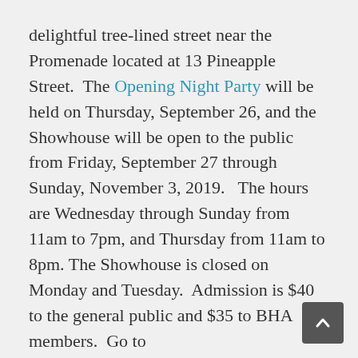delightful tree-lined street near the Promenade located at 13 Pineapple Street.  The Opening Night Party will be held on Thursday, September 26, and the Showhouse will be open to the public from Friday, September 27 through Sunday, November 3, 2019.   The hours are Wednesday through Sunday from 11am to 7pm, and Thursday from 11am to 8pm. The Showhouse is closed on Monday and Tuesday.  Admission is $40 to the general public and $35 to BHA members.  Go to www.brooklyndesignershowhouse.com/visit/ to purchase advance tickets or arrange for docent-led group tours.
Proceeds from the Showhouse will support the mission of the Brooklyn Heights Association, whose advocacy is critical to preserving Brooklyn Heights' remarkable architecture. The Brooklyn Heights Association was instrumental in the creation of New York City's first historic